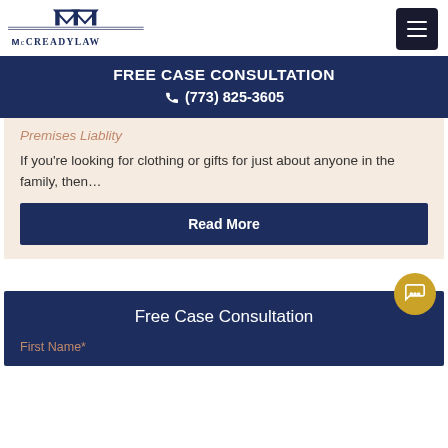McCready Law
FREE CASE CONSULTATION
(773) 825-3605
Premises Liablity
If you're looking for clothing or gifts for just about anyone in the family, then…
Read More
Free Case Consultation
First Name*